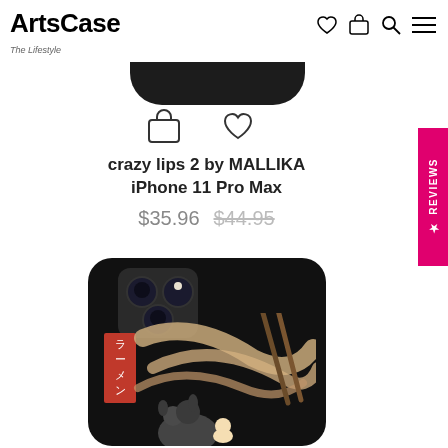[Figure (logo): ArtsCase logo with text 'The Lifestyle' underneath]
[Figure (photo): Top portion of black iPhone 11 Pro Max case with dark background, partially visible]
[Figure (screenshot): Shopping cart and heart/wishlist icons below the first phone case]
crazy lips 2 by MALLIKA
iPhone 11 Pro Max
$35.96 $44.95
[Figure (photo): Black iPhone case featuring anime ramen illustration with Japanese characters (ラーメン), showing Totoro-like creature and other characters eating ramen, with chopsticks]
★ REVIEWS